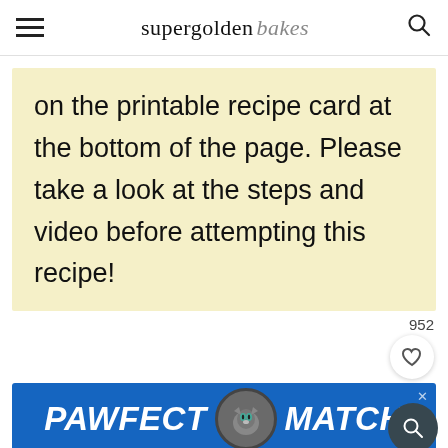supergolden bakes
on the printable recipe card at the bottom of the page. Please take a look at the steps and video before attempting this recipe!
952
[Figure (screenshot): PAWFECT MATCH advertisement banner with cat image and blue background]
[Figure (screenshot): SHE CAN STEM dark footer advertisement bar with W logo]